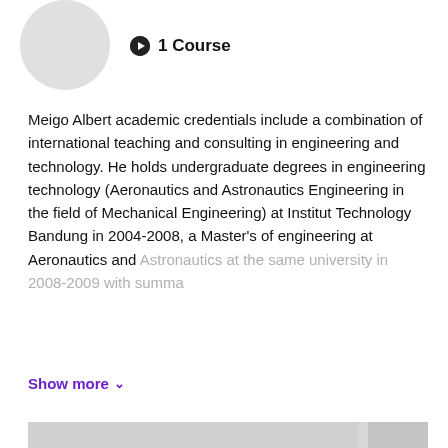[Figure (illustration): Circular avatar/profile photo placeholder (light gray circle) in top left]
1 Course
Meigo Albert academic credentials include a combination of international teaching and consulting in engineering and technology. He holds undergraduate degrees in engineering technology (Aeronautics and Astronautics Engineering in the field of Mechanical Engineering) at Institut Technology Bandung in 2004-2008, a Master's of engineering at Aeronautics and Astronautics at the same university in 2008-2009 with summa
Show more
[Figure (other): Loading skeleton placeholder bars — one large bar and six smaller rows with thumbnail placeholders]